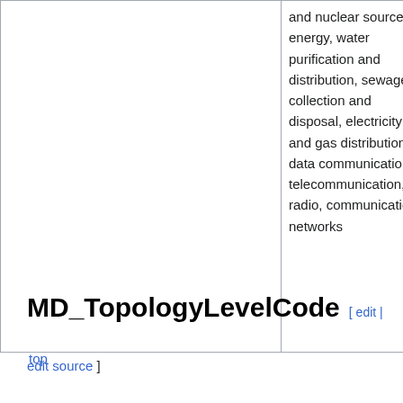|  | and nuclear sources of energy, water purification and distribution, sewage collection and disposal, electricity and gas distribution, data communication, telecommunication, radio, communication networks |
top
MD_TopologyLevelCode [ edit | edit source ]